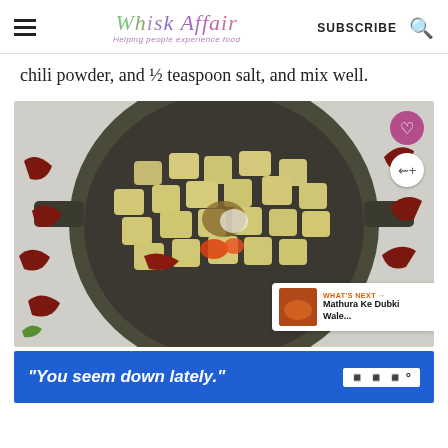Whisk Affair - Helping people experience food | SUBSCRIBE
chili powder, and ½ teaspoon salt, and mix well.
[Figure (photo): Overhead view of a dark cast iron pan with diced potatoes, dried red chilies, spices, and a small amount of tomato, surrounded by dried chilies and green chilies on a gray surface. Social buttons (heart, share) and a 'What's Next: Mathura Ke Dubki Wale...' card overlay the image.]
[Figure (other): Advertisement banner: 'You seem down lately.' text on blue background with a white logo mark on the right.]